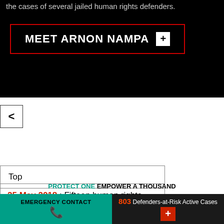the cases of several jailed human rights defenders.
MEET ARNON NAMPA +
< (back button)
Top
About
25 May 2018 : Fifteen human rights defenders arrested and charged for demanding free and fair elections
EMERGENCY CONTACT | 803 Defenders-at-Risk Active Cases +
PROTECT ONE EMPOWER A THOUSAND